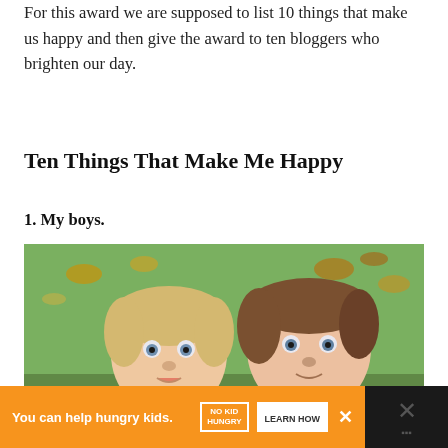For this award we are supposed to list 10 things that make us happy and then give the award to ten bloggers who brighten our day.
Ten Things That Make Me Happy
1. My boys.
[Figure (photo): Two young boys (toddlers) outdoors with autumn leaves in the background. The younger one on the left has blonde hair and is wearing a patterned outfit; the older one on the right has brown hair and is wearing a cream sweater.]
You can help hungry kids. NO KID HUNGRY LEARN HOW